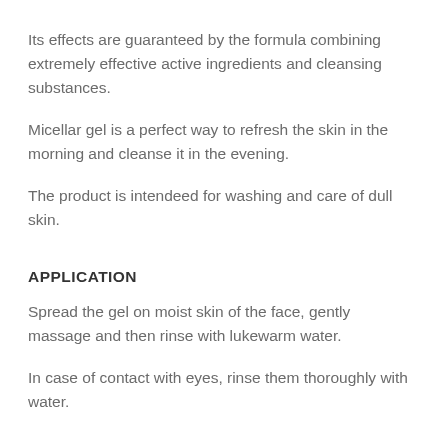Its effects are guaranteed by the formula combining extremely effective active ingredients and cleansing substances.
Micellar gel is a perfect way to refresh the skin in the morning and cleanse it in the evening.
The product is intendeed for washing and care of dull skin.
APPLICATION
Spread the gel on moist skin of the face, gently massage and then rinse with lukewarm water.
In case of contact with eyes, rinse them thoroughly with water.